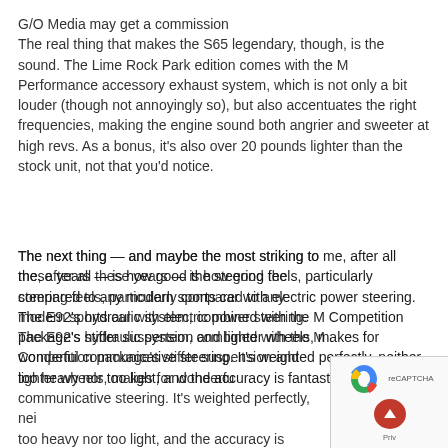G/O Media may get a commission
The real thing that makes the S65 legendary, though, is the sound. The Lime Rock Park edition comes with the M Performance accessory exhaust system, which is not only a bit louder (though not annoyingly so), but also accentuates the right frequencies, making the engine sound both angrier and sweeter at high revs. As a bonus, it's also over 20 pounds lighter than the stock unit, not that you'd notice.
The next thing — and maybe the most striking to me, after all these years — is how good the steering feels, particularly compared to any modern sports car with electric power steering. The E92's hydraulic system, combined with the M Competition package's stiffer suspension and lighter wheels, makes for wonderful communicative steering. It's weighted perfectly, neither too heavy nor too light, and the accuracy is fantastic.